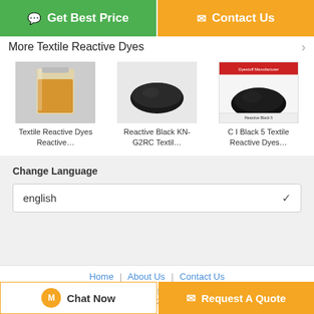[Figure (screenshot): Two call-to-action buttons: green 'Get Best Price' and orange 'Contact Us']
More  Textile Reactive Dyes
[Figure (photo): An amber/orange liquid in a glass beaker]
Textile Reactive Dyes Reactive...
[Figure (photo): A dark black oval powder pile on white background]
Reactive Black KN-G2RC Textil...
[Figure (photo): A black powder pile with 'Dyestuff Manufacturer Reactive Black 5' label]
C I Black 5 Textile Reactive Dyes...
Change Language
english
Home | About Us | Contact Us
Desktop View
Copyright © 2017 - 2021 synthetic-dyes.com
[Figure (screenshot): Bottom bar: 'Chat Now' and 'Request A Quote' buttons]